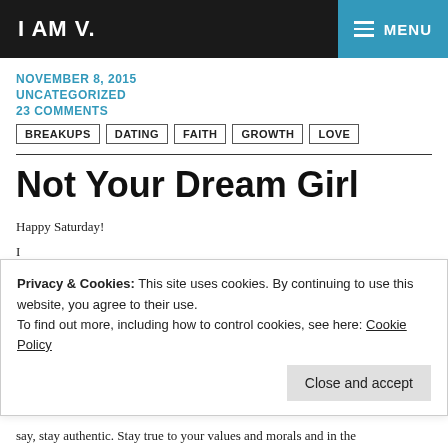I AM V.  ≡ MENU
NOVEMBER 8, 2015
UNCATEGORIZED
23 COMMENTS
BREAKUPS  DATING  FAITH  GROWTH  LOVE
Not Your Dream Girl
Happy Saturday!
Privacy & Cookies: This site uses cookies. By continuing to use this website, you agree to their use.
To find out more, including how to control cookies, see here: Cookie Policy
Close and accept
say, stay authentic. Stay true to your values and morals and in the